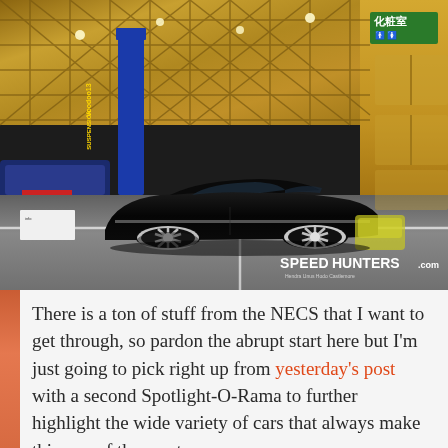[Figure (photo): A heavily modified black lowered Japanese car (appears to be a Nissan S-body) with large chrome multi-spoke wheels on display at what appears to be the NECS (New Era Car Show) event in Japan. The car is parked on a gray exhibition hall floor with white line markings. In the background is a large industrial ceiling with lattice/truss structure, a blue banner with yellow text, other cars, and Japanese signage. A Speedhunters.com watermark is visible in the lower right corner.]
There is a ton of stuff from the NECS that I want to get through, so pardon the abrupt start here but I'm just going to pick right up from yesterday's post with a second Spotlight-O-Rama to further highlight the wide variety of cars that always make this one of the most